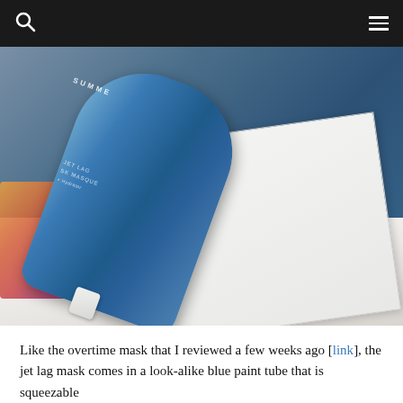Navigation bar with search icon and menu icon
[Figure (photo): A blue metallic tube of Summer Fridays Jet Lag Mask resting on a white magazine, both placed on a marble surface. Colorful items visible in the lower left corner.]
Like the overtime mask that I reviewed a few weeks ago [link], the jet lag mask comes in a look-alike blue paint tube that is squeezable